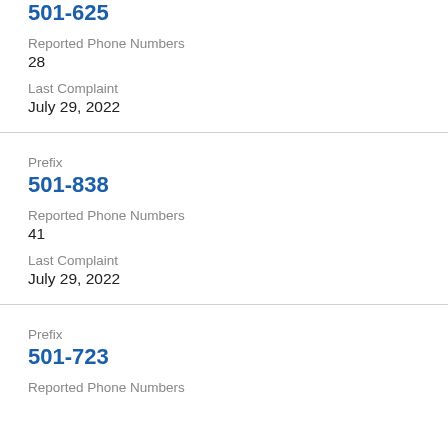501-625 (partial, top of page)
Reported Phone Numbers
28
Last Complaint
July 29, 2022
Prefix
501-838
Reported Phone Numbers
41
Last Complaint
July 29, 2022
Prefix
501-723
Reported Phone Numbers